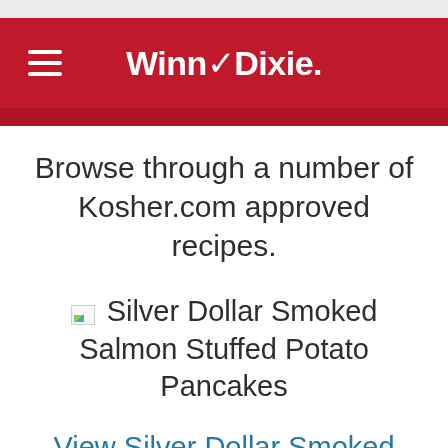Winn-Dixie
Browse through a number of Kosher.com approved recipes.
[Figure (photo): Broken image placeholder for Silver Dollar Smoked Salmon Stuffed Potato Pancakes]
Silver Dollar Smoked Salmon Stuffed Potato Pancakes
View Silver Dollar Smoked Salmon